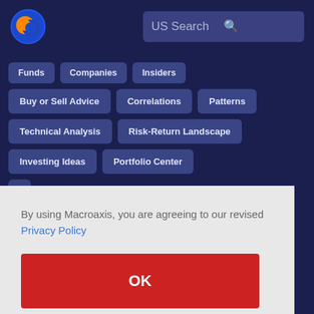[Figure (logo): Macroaxis logo: circular globe icon with orange and blue colors]
US Search
Funds
Companies
Insiders
Buy or Sell Advice
Correlations
Patterns
Technical Analysis
Risk-Return Landscape
Investing Ideas
Portfolio Center
By using Macroaxis, you are agreeing to our revised Privacy Policy
OK
Optimization Engine